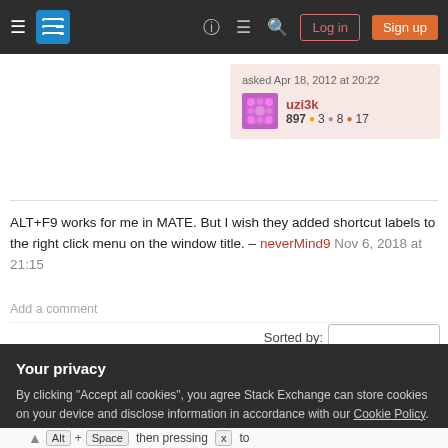Stack Exchange navigation bar with Log in and Sign up buttons
asked Apr 18, 2012 at 20:22
uzi3k 897 ●3 ●8 ●17
ALT+F9 works for me in MATE. But I wish they added shortcut labels to the right click menu on the window title. – neverMind9 Nov 6, 2018 at 21:15
Add a comment
Sorted by:
4 Answers
Your privacy
By clicking "Accept all cookies", you agree Stack Exchange can store cookies on your device and disclose information in accordance with our Cookie Policy.
Accept all cookies  Customize settings